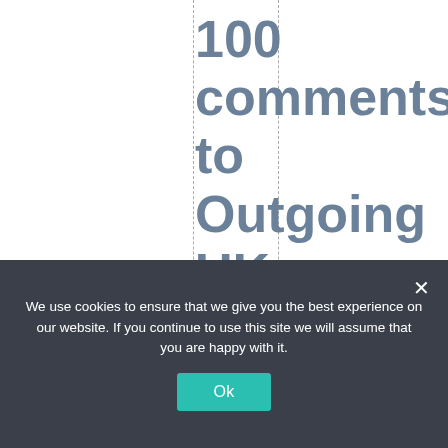100 comments to Outgoing UK Environment Minister says green groups
We use cookies to ensure that we give you the best experience on our website. If you continue to use this site we will assume that you are happy with it.